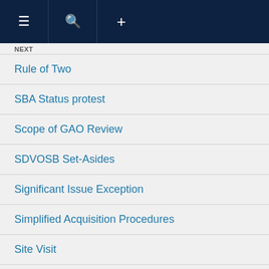Navigation bar with menu, search, and add icons
NEXT
Rule of Two
SBA Status protest
Scope of GAO Review
SDVOSB Set-Asides
Significant Issue Exception
Simplified Acquisition Procedures
Site Visit
Size Determination